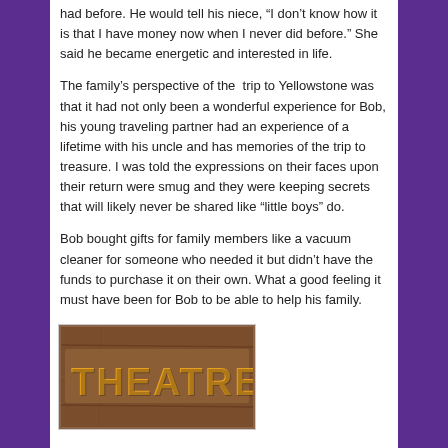had before.  He would tell his niece, “I don’t know how it is that I have money now when I never did before.”  She said he became energetic and interested in life.
The family’s perspective of the  trip to Yellowstone was that it had not only been a wonderful experience for Bob, his young traveling partner had an experience of a lifetime with his uncle and has memories of the trip to treasure.  I was told the expressions on their faces upon their return were smug and they were keeping secrets that will likely never be shared like “little boys” do.
Bob bought gifts for family members like a vacuum cleaner for someone who needed it but didn’t have the funds to purchase it on their own.  What a good feeling it must have been for Bob to be able to help his family.
[Figure (photo): A wooden sign with yellow/orange letters spelling THEATRE on a brown wooden plank background.]